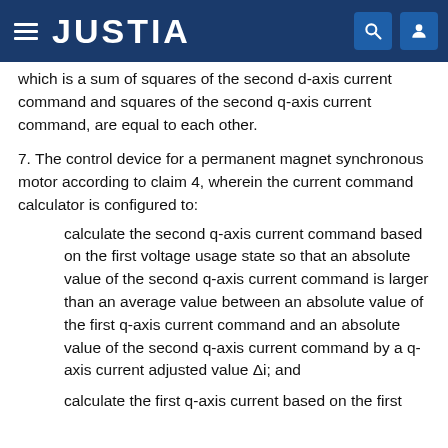JUSTIA
which is a sum of squares of the second d-axis current command and squares of the second q-axis current command, are equal to each other.
7. The control device for a permanent magnet synchronous motor according to claim 4, wherein the current command calculator is configured to:
calculate the second q-axis current command based on the first voltage usage state so that an absolute value of the second q-axis current command is larger than an average value between an absolute value of the first q-axis current command and an absolute value of the second q-axis current command by a q-axis current adjusted value Δi; and
calculate the first q-axis current based on the first